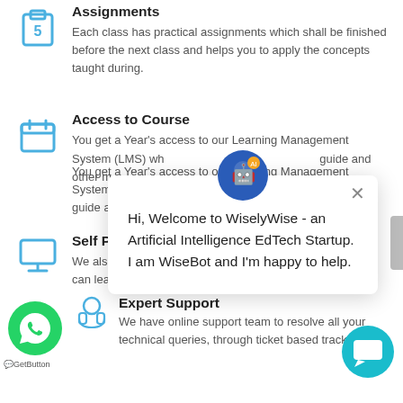[Figure (illustration): Blue clipboard icon with number 5]
Assignments
Each class has practical assignments which shall be finished before the next class and helps you to apply the concepts taught during.
[Figure (illustration): Blue calendar icon]
Access to Course
You get a Year's access to our Learning Management System (LMS) where presentations, installation guide and other m...
[Figure (illustration): Blue desktop monitor icon]
Self Paced Stu...
We also provide a... can learn at their...
[Figure (illustration): Green WhatsApp button with chat icon and GetButton label]
[Figure (illustration): Blue headset/support icon]
Expert Support
We have online support team to resolve all your technical queries, through ticket based tracking
[Figure (illustration): Chat bot popup with WiseBot avatar saying: Hi, Welcome to WiselyWise - an Artificial Intelligence EdTech Startup. I am WiseBot and I'm happy to help.]
[Figure (illustration): Teal chat button at bottom right]